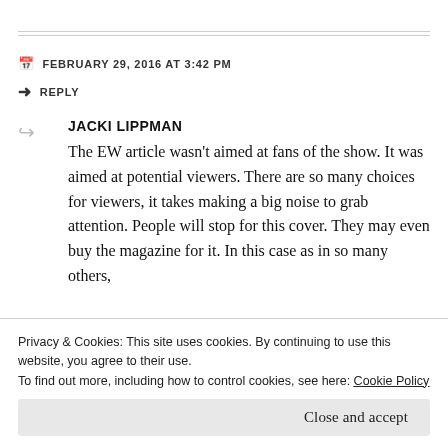FEBRUARY 29, 2016 AT 3:42 PM
REPLY
JACKI LIPPMAN
The EW article wasn't aimed at fans of the show. It was aimed at potential viewers. There are so many choices for viewers, it takes making a big noise to grab attention. People will stop for this cover. They may even buy the magazine for it. In this case as in so many others,
Privacy & Cookies: This site uses cookies. By continuing to use this website, you agree to their use.
To find out more, including how to control cookies, see here: Cookie Policy
Close and accept